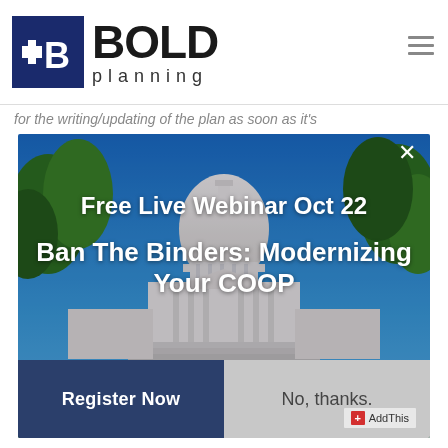[Figure (logo): Bold Planning logo with dark blue square icon containing a B symbol and the text BOLD planning]
for the writing/updating of the plan as soon as it's
[Figure (photo): Modal popup overlay on a photo of a Capitol building with blue sky and trees. Contains webinar promotion text 'Free Live Webinar Oct 22' and 'Ban The Binders: Modernizing Your COOP' with two buttons: Register Now and No, thanks. An AddThis badge appears in the bottom right corner.]